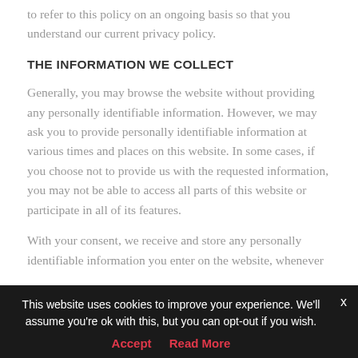to refer to this policy on an ongoing basis so that you understand our current privacy policy.
THE INFORMATION WE COLLECT
Generally, you may browse the website without providing any personally identifiable information. However, we may ask you to provide personally identifiable information at various times and places on this website. In some cases, if you choose not to provide us with the requested information, you may not be able to access all parts of this website or participate in all of its features.
With your consent, we receive and store any personally identifiable information you enter on the website, whenever
This website uses cookies to improve your experience. We'll assume you're ok with this, but you can opt-out if you wish.
Accept   Read More